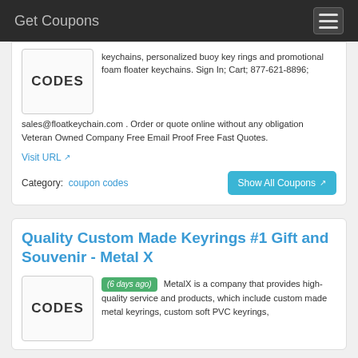Get Coupons
keychains, personalized buoy key rings and promotional foam floater keychains. Sign In; Cart; 877-621-8896; sales@floatkeychain.com . Order or quote online without any obligation Veteran Owned Company Free Email Proof Free Fast Quotes.
Visit URL
Category:  coupon codes
Show All Coupons
Quality Custom Made Keyrings #1 Gift and Souvenir - Metal X
(6 days ago) MetalX is a company that provides high-quality service and products, which include custom made metal keyrings, custom soft PVC keyrings,